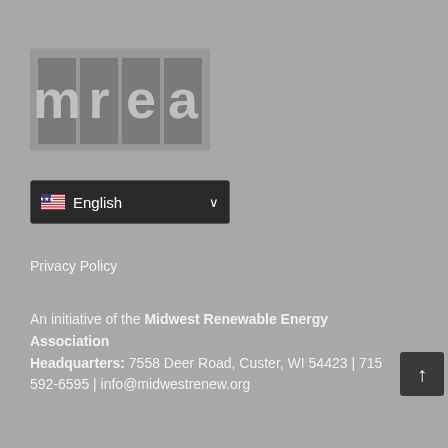[Figure (logo): MREA logo — stylized letters m, r, e, a in a grid/block arrangement, light gray on dark gray background]
English (language selector dropdown with US flag)
Privacy Policy
An initiative of the Midwest Renewable Energy Association
Headquarters: 7558 Deer Road, Custer, WI 54423 | 715 592-6595 | info@midwestrenew.org